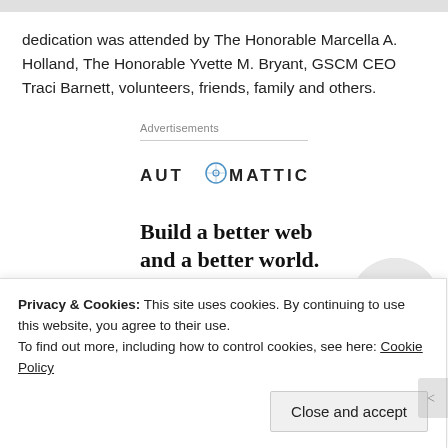dedication was attended by The Honorable Marcella A. Holland, The Honorable Yvette M. Bryant, GSCM CEO Traci Barnett, volunteers, friends, family and others.
Advertisements
[Figure (logo): Automattic logo with compass/target icon in the letter O]
[Figure (infographic): Automattic advertisement: 'Build a better web and a better world.' with an Apply button and photo of a smiling person]
Privacy & Cookies: This site uses cookies. By continuing to use this website, you agree to their use. To find out more, including how to control cookies, see here: Cookie Policy
Close and accept